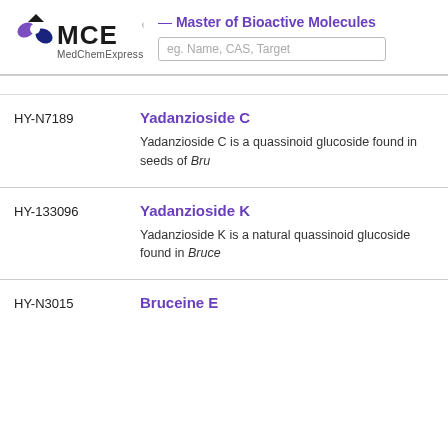MCE MedChemExpress — Master of Bioactive Molecules | eg. Name, CAS, Target
HY-N7189   Yadanzioside C
Yadanzioside C is a quassinoid glucoside found in seeds of Bru...
HY-133096   Yadanzioside K
Yadanzioside K is a natural quassinoid glucoside found in Bruce...
HY-N3015   Bruceine E